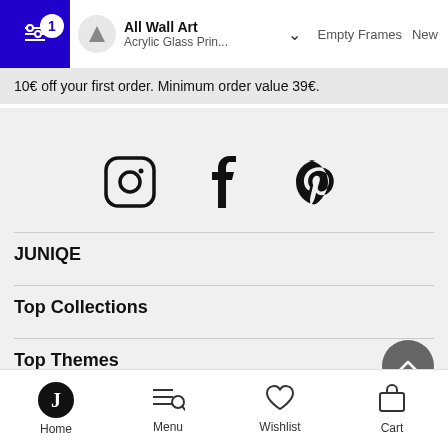All Wall Art / Acrylic Glass Prin... | Empty Frames | New
10€ off your first order. Minimum order value 39€.
[Figure (illustration): Social media icons: Instagram, Facebook, Pinterest]
JUNIQE
Top Collections
Top Themes
Help
Home | Menu | Wishlist | Cart